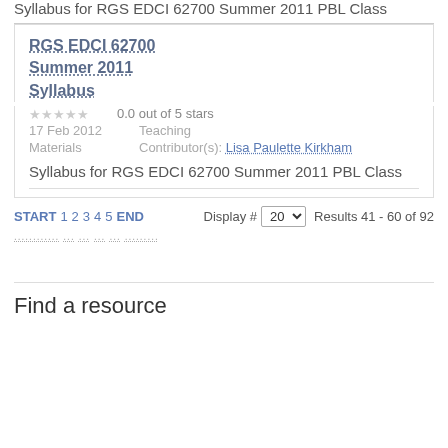Syllabus for RGS EDCI 62700 Summer 2011 PBL Class
RGS EDCI 62700
Summer 2011
Syllabus
0.0 out of 5 stars
17 Feb 2012   Teaching Materials   Contributor(s): Lisa Paulette Kirkham
Syllabus for RGS EDCI 62700 Summer 2011 PBL Class
START 1 2 3 4 5 END   Display # 20   Results 41 - 60 of 92
Find a resource